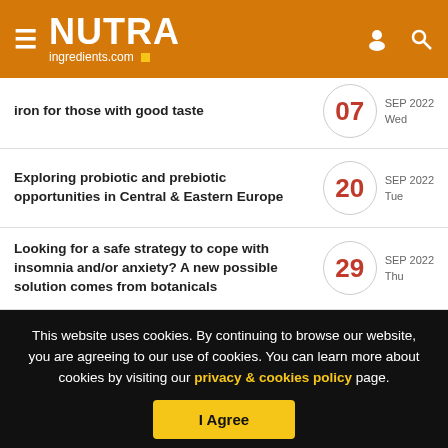NUTRAingredients.com
iron for those with good taste — 07 SEP 2022 Wed
Exploring probiotic and prebiotic opportunities in Central & Eastern Europe — 20 SEP 2022 Tue
Looking for a safe strategy to cope with insomnia and/or anxiety? A new possible solution comes from botanicals — 29 SEP 2022 Thu
This website uses cookies. By continuing to browse our website, you are agreeing to our use of cookies. You can learn more about cookies by visiting our privacy & cookies policy page.